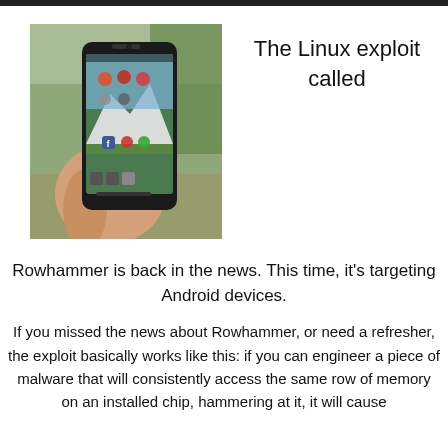[Figure (photo): A hand holding an Android smartphone displaying a home screen with app icons and a mountain wallpaper, photographed outdoors with a blurred green background.]
The Linux exploit called
Rowhammer is back in the news. This time, it's targeting Android devices.
If you missed the news about Rowhammer, or need a refresher, the exploit basically works like this: if you can engineer a piece of malware that will consistently access the same row of memory on an installed chip, hammering at it, it will cause